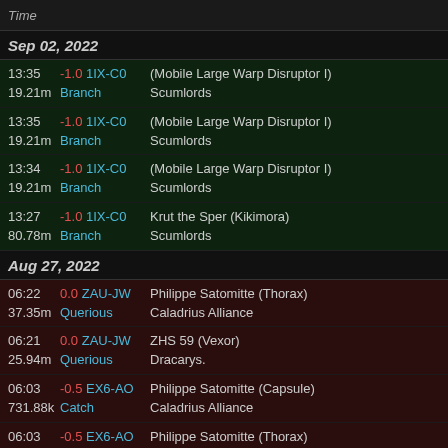Time
Sep 02, 2022
| Time/ISK | Sec/System/Region | Victim/Corp |
| --- | --- | --- |
| 13:35 / 19.21m | -1.0 1IX-C0 / Branch | (Mobile Large Warp Disruptor I) / Scumlords |
| 13:35 / 19.21m | -1.0 1IX-C0 / Branch | (Mobile Large Warp Disruptor I) / Scumlords |
| 13:34 / 19.21m | -1.0 1IX-C0 / Branch | (Mobile Large Warp Disruptor I) / Scumlords |
| 13:27 / 80.78m | -1.0 1IX-C0 / Branch | Krut the Sper (Kikimora) / Scumlords |
Aug 27, 2022
| Time/ISK | Sec/System/Region | Victim/Corp |
| --- | --- | --- |
| 06:22 / 37.35m | 0.0 ZAU-JW / Querious | Philippe Satomitte (Thorax) / Caladrius Alliance |
| 06:21 / 25.94m | 0.0 ZAU-JW / Querious | ZHS 59 (Vexor) / Dracarys. |
| 06:03 / 731.88k | -0.5 EX6-AO / Catch | Philippe Satomitte (Capsule) / Caladrius Alliance |
| 06:03 | -0.5 EX6-AO | Philippe Satomitte (Thorax) |